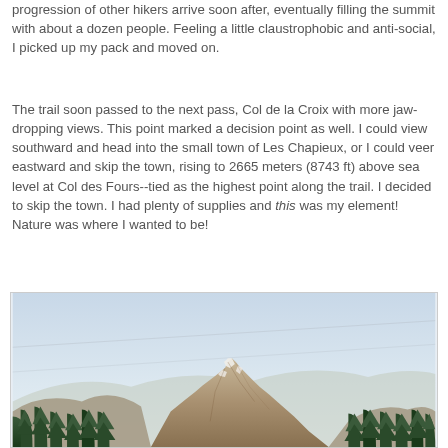progression of other hikers arrive soon after, eventually filling the summit with about a dozen people. Feeling a little claustrophobic and anti-social, I picked up my pack and moved on.
The trail soon passed to the next pass, Col de la Croix with more jaw-dropping views. This point marked a decision point as well. I could view southward and head into the small town of Les Chapieux, or I could veer eastward and skip the town, rising to 2665 meters (8743 ft) above sea level at Col des Fours--tied as the highest point along the trail. I decided to skip the town. I had plenty of supplies and this was my element! Nature was where I wanted to be!
[Figure (photo): Photograph of a rocky mountain peak with snow patches at the top, surrounded by conifer trees in the foreground, with a pale blue sky and faint diagonal lines (possibly power lines or cables) in the upper portion of the image.]